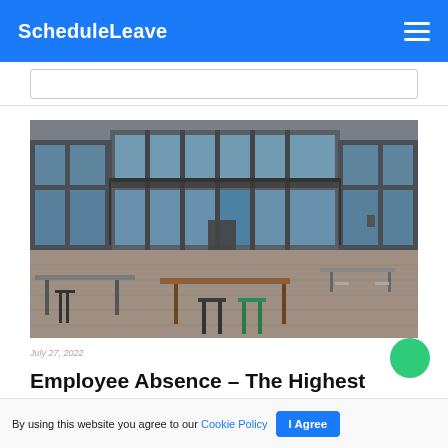ScheduleLeave
[Figure (photo): Exterior courtyard of a modern commercial building with glass facades, outdoor tables and metal stools on a paved area]
July 27, 2022
Employee Absence – The Highest
By using this website you agree to our Cookie Policy | I Agree